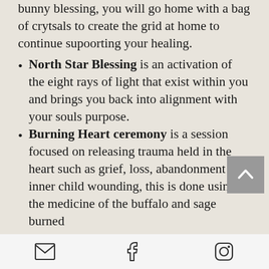bunny blessing, you will go home with a bag of crytsals to create the grid at home to continue supoorting your healing.
North Star Blessing is an activation of the eight rays of light that exist within you and brings you back into alignment with your souls purpose.
Burning Heart ceremony is a session focused on releasing trauma held in the heart such as grief, loss, abandonment or inner child wounding, this is done using the medicine of the buffalo and sage burned
[email icon] [facebook icon] [instagram icon]